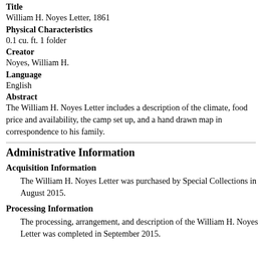Title
William H. Noyes Letter, 1861
Physical Characteristics
0.1 cu. ft. 1 folder
Creator
Noyes, William H.
Language
English
Abstract
The William H. Noyes Letter includes a description of the climate, food price and availability, the camp set up, and a hand drawn map in correspondence to his family.
Administrative Information
Acquisition Information
The William H. Noyes Letter was purchased by Special Collections in August 2015.
Processing Information
The processing, arrangement, and description of the William H. Noyes Letter was completed in September 2015.